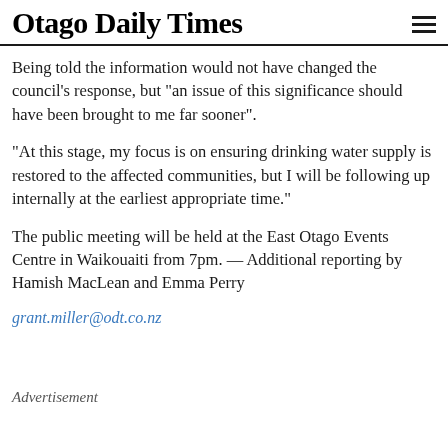Otago Daily Times
Being told the information would not have changed the council's response, but "an issue of this significance should have been brought to me far sooner".
“At this stage, my focus is on ensuring drinking water supply is restored to the affected communities, but I will be following up internally at the earliest appropriate time.”
The public meeting will be held at the East Otago Events Centre in Waikouaiti from 7pm. — Additional reporting by Hamish MacLean and Emma Perry
grant.miller@odt.co.nz
Advertisement